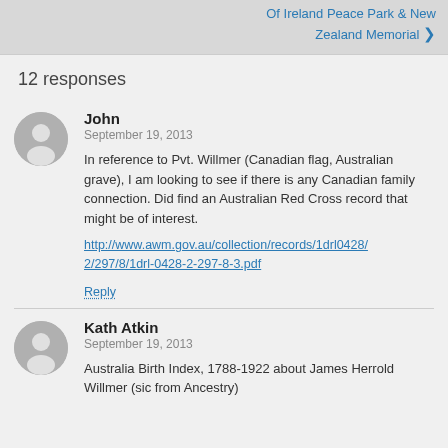Of Ireland Peace Park & New Zealand Memorial ›
12 responses
John
September 19, 2013

In reference to Pvt. Willmer (Canadian flag, Australian grave), I am looking to see if there is any Canadian family connection. Did find an Australian Red Cross record that might be of interest.

http://www.awm.gov.au/collection/records/1drl0428/2/297/8/1drl-0428-2-297-8-3.pdf

Reply
Kath Atkin
September 19, 2013

Australia Birth Index, 1788-1922 about James Herrold Willmer (sic from Ancestry)